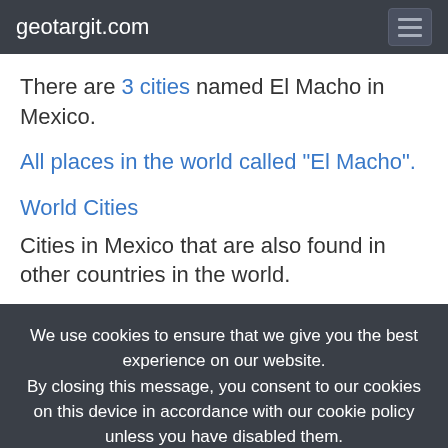geotargit.com
There are 3 cities named El Macho in Mexico.
All places in the world called "El Macho".
World Cities
Cities in Mexico that are also found in other countries in the world.
We use cookies to ensure that we give you the best experience on our website. By closing this message, you consent to our cookies on this device in accordance with our cookie policy unless you have disabled them.
I Agree!